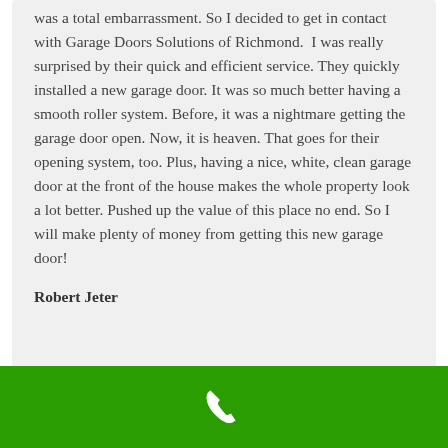was a total embarrassment. So I decided to get in contact with Garage Doors Solutions of Richmond. I was really surprised by their quick and efficient service. They quickly installed a new garage door. It was so much better having a smooth roller system. Before, it was a nightmare getting the garage door open. Now, it is heaven. That goes for their opening system, too. Plus, having a nice, white, clean garage door at the front of the house makes the whole property look a lot better. Pushed up the value of this place no end. So I will make plenty of money from getting this new garage door!
Robert Jeter
[Figure (illustration): White phone handset icon centered on a green bar at the bottom of the page]